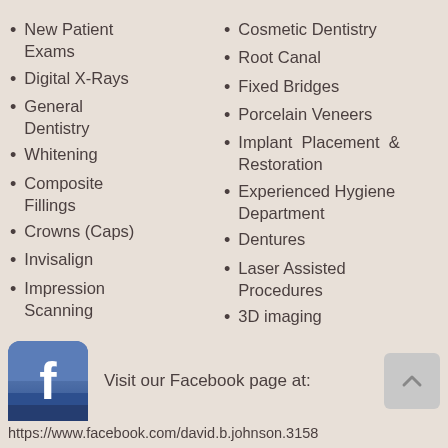New Patient Exams
Digital X-Rays
General Dentistry
Whitening
Composite Fillings
Crowns (Caps)
Invisalign
Impression Scanning
Cosmetic Dentistry
Root Canal
Fixed Bridges
Porcelain Veneers
Implant Placement & Restoration
Experienced Hygiene Department
Dentures
Laser Assisted Procedures
3D imaging
[Figure (logo): Facebook logo icon - blue square with white 'f' letter]
Visit our Facebook page at:
https://www.facebook.com/david.b.johnson.3158